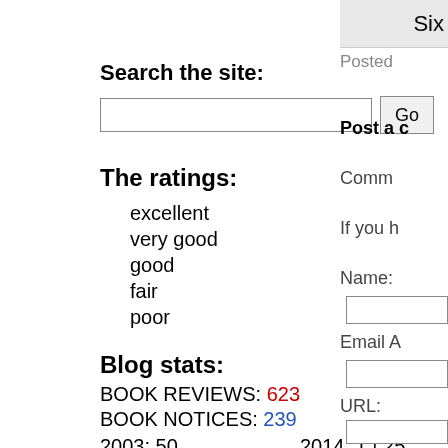[Figure (screenshot): Top right gray box partially showing 'Six']
Posted
Post a c
Comm
If you h
Name:
Email A
URL:
Search the site:
[Figure (screenshot): Search input box and Go button]
The ratings:
excellent
very good
good
fair
poor
Blog stats:
BOOK REVIEWS: 623
BOOK NOTICES: 239
2003: 50	2014: 1 | 25
2004: 68	2015: 0 | 17
2005: 66	2016: 3 | 22
2006: 75	2017: 0 | 24